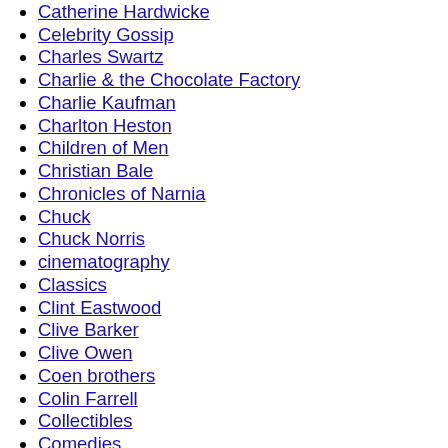Carey Mulligan
Catherine Hardwicke
Celebrity Gossip
Charles Swartz
Charlie & the Chocolate Factory
Charlie Kaufman
Charlton Heston
Children of Men
Christian Bale
Chronicles of Narnia
Chuck
Chuck Norris
cinematography
Classics
Clint Eastwood
Clive Barker
Clive Owen
Coen brothers
Colin Farrell
Collectibles
Comedies
Comedy
Comic-Con
Comics
Costume Dramas
Costume Sales